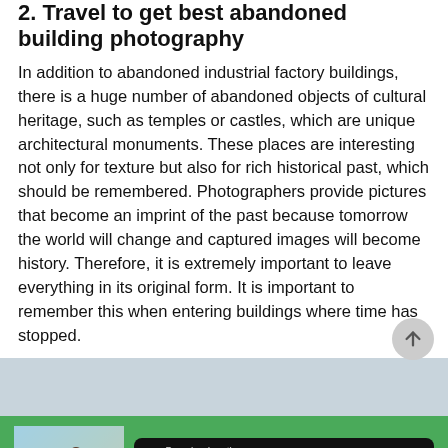2. Travel to get best abandoned building photography
In addition to abandoned industrial factory buildings, there is a huge number of abandoned objects of cultural heritage, such as temples or castles, which are unique architectural monuments. These places are interesting not only for texture but also for rich historical past, which should be remembered. Photographers provide pictures that become an imprint of the past because tomorrow the world will change and captured images will become history. Therefore, it is extremely important to leave everything in its original form. It is important to remember this when entering buildings where time has stopped.
[Figure (photo): Partial view of a landscape/sky photo strip]
[Figure (photo): Green footer banner with a photo of a person on a beach, App Store download button, and Google Play download button]